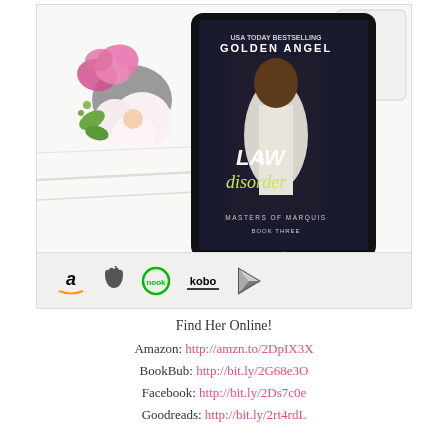[Figure (photo): Book promotion image showing a tablet displaying the book cover 'Law & Disorder: Masters of Marquis Book Three' by Golden Angel (USA Today Bestselling Author), alongside pink and white flowers on a white wooden surface. Below the photo are retailer icons for Amazon, Apple, Nook, Kobo, and Google Play.]
Find Her Online!
Amazon: http://amzn.to/2DpIX3X
BookBub: http://bit.ly/2G68e3O
Facebook: http://bit.ly/2Ds7c0e
Goodreads: http://bit.ly/2rt4rdL